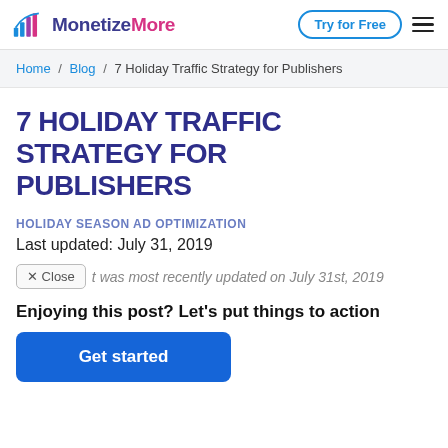MonetizeMore | Try for Free
Home / Blog / 7 Holiday Traffic Strategy for Publishers
7 HOLIDAY TRAFFIC STRATEGY FOR PUBLISHERS
HOLIDAY SEASON AD OPTIMIZATION
Last updated: July 31, 2019
X Close  t was most recently updated on July 31st, 2019
Enjoying this post? Let's put things to action
Get started